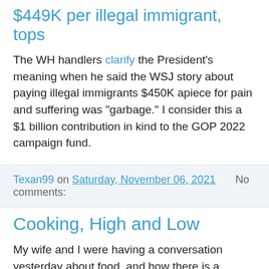$449K per illegal immigrant, tops
The WH handlers clarify the President's meaning when he said the WSJ story about paying illegal immigrants $450K apiece for pain and suffering was "garbage." I consider this a $1 billion contribution in kind to the GOP 2022 campaign fund.
Texan99 on Saturday, November 06, 2021   No comments:
Cooking, High and Low
My wife and I were having a conversation yesterday about food, and how there is a strange disconnect between Americans and the French about which French dishes associated with country folk and common folk are a kind of 'high cuisine.' This is of course an accident of history, associated with the mid-century popularity of noted early special operator and famous cook Julia Child. Child was of